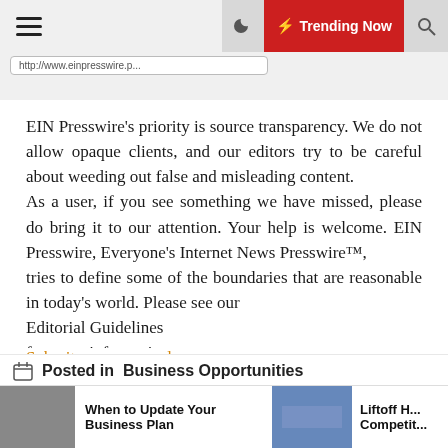Trending Now
http://www.einpresswire.p...
EIN Presswire’s priority is source transparency. We do not allow opaque clients, and our editors try to be careful about weeding out false and misleading content.
As a user, if you see something we have missed, please do bring it to our attention. Your help is welcome. EIN Presswire, Everyone’s Internet News Presswire™,
tries to define some of the boundaries that are reasonable in today’s world. Please see our
Editorial Guidelines
for more information.
Submit your press release
Posted in  Business Opportunities
When to Update Your Business Plan
Liftoff H... Competit...